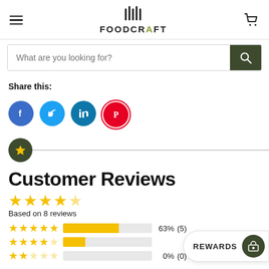FOODCRAFT
What are you looking for?
Share this:
[Figure (other): Social share icons: Facebook, Twitter, LinkedIn, Pinterest]
Customer Reviews
Based on 8 reviews
| Stars | Bar | Percent | Count |
| --- | --- | --- | --- |
| ★★★★★ |  | 63% | (5) |
| ★★★★☆ |  |  |  |
| ★★★☆☆ |  | 0% | (0) |
REWARDS